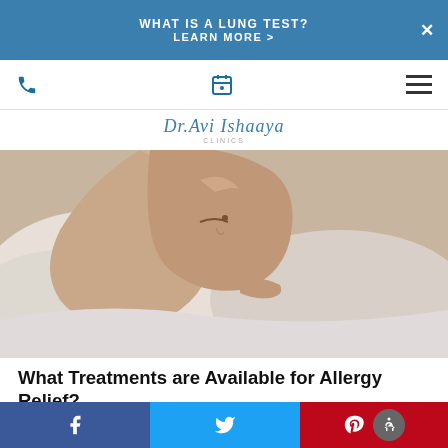WHAT IS A LUNG TEST? LEARN MORE >
[Figure (logo): Dr. Abraham (Avi) Ishaaya clinic logo with stylized italic text]
[Figure (photo): Person lying down sleeping, covering face with arm, resting on pillow]
What Treatments are Available for Allergy Relief?
Dr. Abraham (Avi) Ishaaya | 08/26/2022
We're happy to offer you multiple allergy treatment options, including medications, immunotherapy, and lifestyle
Facebook | Twitter | Pinterest | Accessibility